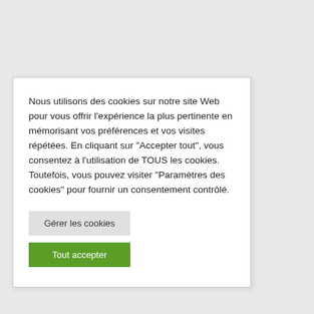Nous utilisons des cookies sur notre site Web pour vous offrir l'expérience la plus pertinente en mémorisant vos préférences et vos visites répétées. En cliquant sur "Accepter tout", vous consentez à l'utilisation de TOUS les cookies. Toutefois, vous pouvez visiter "Paramètres des cookies" pour fournir un consentement contrôlé.
Gérer les cookies
Tout accepter